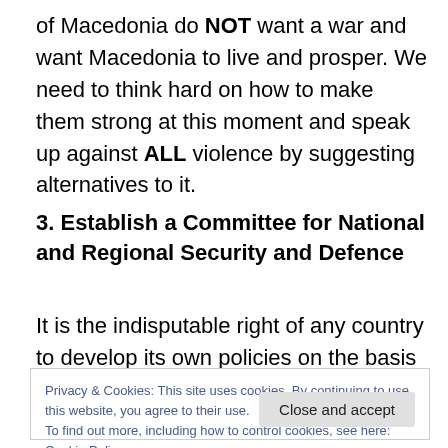of Macedonia do NOT want a war and want Macedonia to live and prosper. We need to think hard on how to make them strong at this moment and speak up against ALL violence by suggesting alternatives to it.
3. Establish a Committee for National and Regional Security and Defence
It is the indisputable right of any country to develop its own policies on the basis of the perceived needs of its people.
Privacy & Cookies: This site uses cookies. By continuing to use this website, you agree to their use.
To find out more, including how to control cookies, see here: Cookie Policy